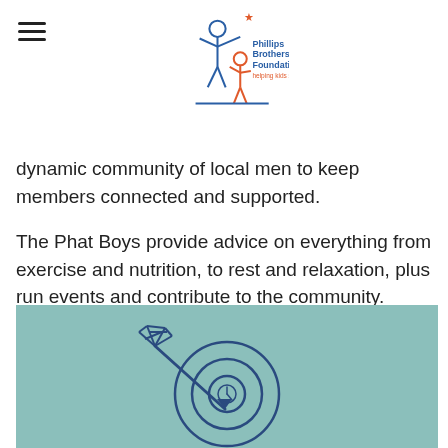Phillips Brothers Foundation
dynamic community of local men to keep members connected and supported.
The Phat Boys provide advice on everything from exercise and nutrition, to rest and relaxation, plus run events and contribute to the community. Connecting with Fit Dads, the Phat Boys are part of a positive ripple effect for men.
[Figure (illustration): Icon of an arrow hitting a target/bullseye on a teal/muted green background]